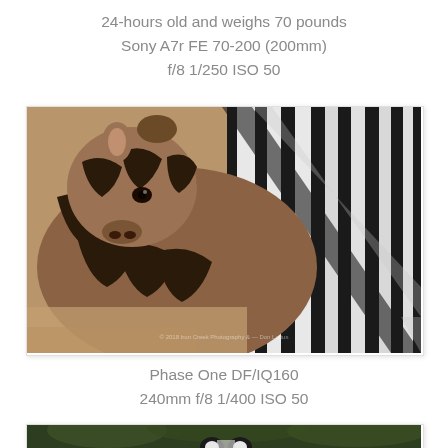[Figure (photo): Top partial image strip — cropped photo of zebra/animal]
24-hours old and weighs 70 pounds
Sony A7r FE 70-200 (200mm)
f/8 1/250 ISO 50
[Figure (photo): Close-up photo of a baby zebra foal nuzzling against the side of an adult zebra, showing brown-and-black striped foal against the classic black-and-white stripes of the adult. Watermark visible in lower center area.]
Phase One DF/IQ160
240mm f/8 1/400 ISO 50
[Figure (photo): Partial photo at bottom of page — zebra with trees/foliage visible in background, cut off at bottom of page]